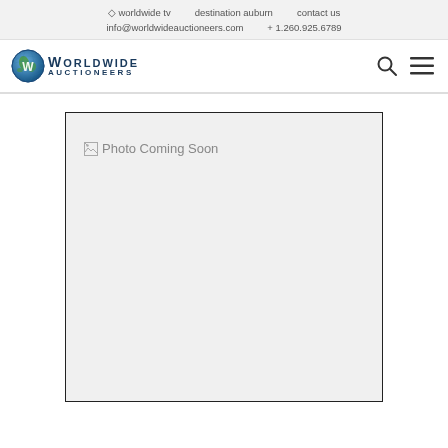worldwide tv   destination auburn   contact us   info@worldwideauctioneers.com   +1.260.925.6789
[Figure (logo): Worldwide Auctioneers logo: globe icon with W and text WORLDWIDE AUCTIONEERS]
[Figure (photo): Photo Coming Soon placeholder box with broken image icon]